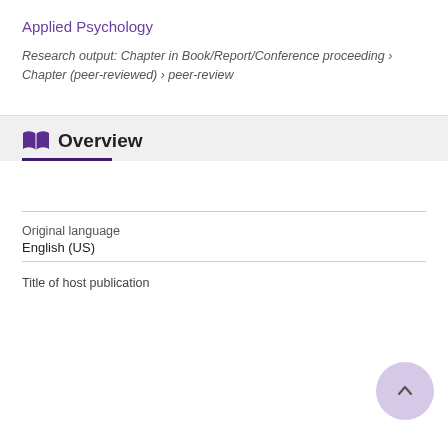Applied Psychology
Research output: Chapter in Book/Report/Conference proceeding › Chapter (peer-reviewed) › peer-review
Overview
| Field | Value |
| --- | --- |
| Original language | English (US) |
| Title of host publication |  |